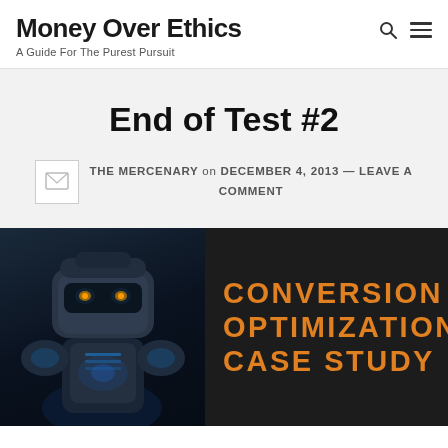Money Over Ethics — A Guide For The Purest Pursuit
End of Test #2
THE MERCENARY on DECEMBER 4, 2013 — LEAVE A COMMENT
[Figure (photo): Dark-themed image with a robotic/armored character on the left side and orange text reading 'Conversion Optimization Case Study' on a dark background on the right side.]